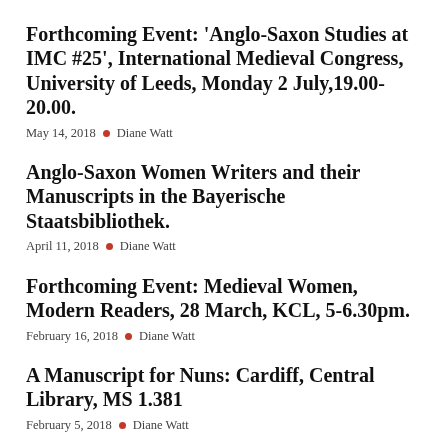Forthcoming Event: ‘Anglo-Saxon Studies at IMC #25’, International Medieval Congress, University of Leeds, Monday 2 July,19.00-20.00.
May 14, 2018 • Diane Watt
Anglo-Saxon Women Writers and their Manuscripts in the Bayerische Staatsbibliothek.
April 11, 2018 • Diane Watt
Forthcoming Event: Medieval Women, Modern Readers, 28 March, KCL, 5-6.30pm.
February 16, 2018 • Diane Watt
A Manuscript for Nuns: Cardiff, Central Library, MS 1.381
February 5, 2018 • Diane Watt